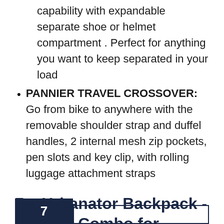capability with expandable separate shoe or helmet compartment . Perfect for anything you want to keep separated in your load
PANNIER TRAVEL CROSSOVER: Go from bike to anywhere with the removable shoulder strap and duffel handles, 2 internal mesh zip pockets, pen slots and key clip, with rolling luggage attachment straps
7    Urbanator Backpack - Pannier Combo for Cycling - 2 in 1 Bike Commuting Pannier and Backpack